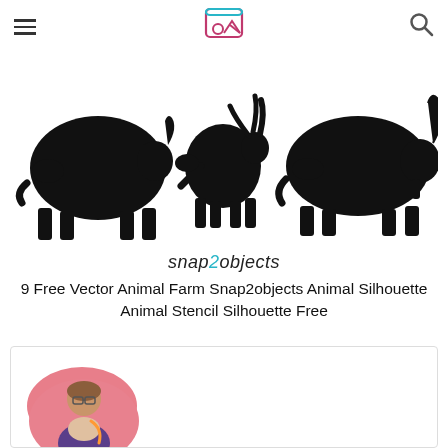snap2objects — hamburger menu and search icon
[Figure (illustration): Three black animal silhouettes: a cow on the left, a goat/deer in the center, and a bull on the right, all facing right]
snap2objects
9 Free Vector Animal Farm Snap2objects Animal Silhouette Animal Stencil Silhouette Free
[Figure (photo): Young woman with glasses and a backpack, shown in an oval pink-background portrait photo, inside a white card]